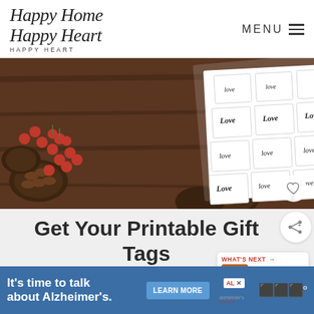Happy Home Happy Heart | MENU
[Figure (photo): Photo of printable gift tags with 'Made with Love' text on white paper sheet, surrounded by pine cones and red berries on a wooden background.]
Get Your Printable Gift Tags
Join the happy home happy heart email list & I'll send it to you for free!
[Figure (infographic): What's Next box showing Homemade Bath Oil... article preview with thumbnail image]
It's time to talk about Alzheimer's. LEARN MORE